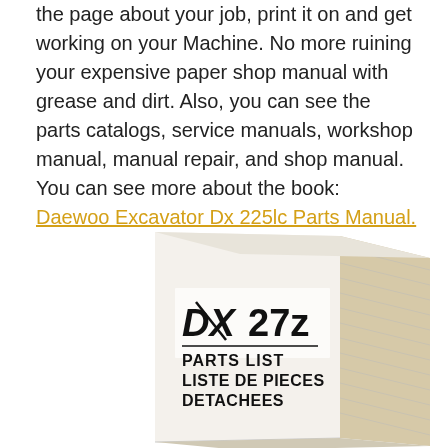the page about your job, print it on and get working on your Machine. No more ruining your expensive paper shop manual with grease and dirt. Also, you can see the parts catalogs, service manuals, workshop manual, manual repair, and shop manual. You can see more about the book: Daewoo Excavator Dx 225lc Parts Manual.
[Figure (photo): A physical parts list manual book for the DX 27z excavator, shown at an angle. The cover reads 'DX 27z PARTS LIST LISTE DE PIECES DETACHEES'. The book has a white/cream cover and thick pages visible on the right spine.]